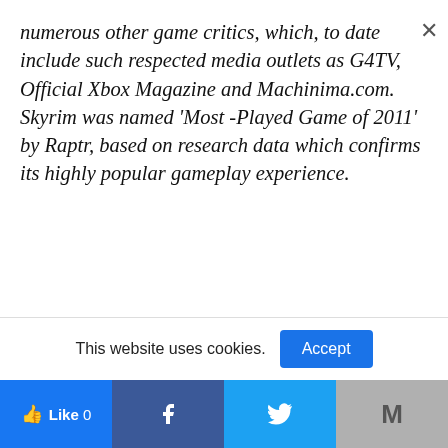numerous other game critics, which, to date include such respected media outlets as G4TV, Official Xbox Magazine and Machinima.com. Skyrim was named 'Most -Played Game of 2011' by Raptr, based on research data which confirms its highly popular gameplay experience.
[Figure (other): Black redacted/censored bar]
"We are gratified that Skyrim continues to garner
This website uses cookies.
Accept
Like 0  [Facebook]  [Twitter]  M